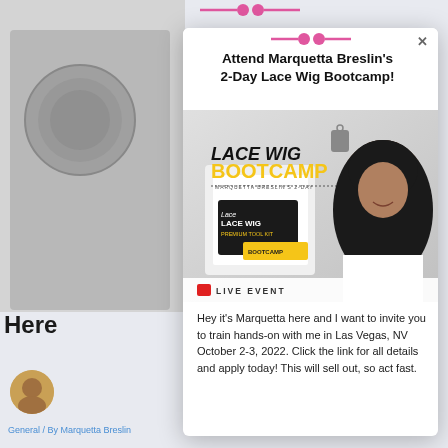Attend Marquetta Breslin's 2-Day Lace Wig Bootcamp!
[Figure (screenshot): Lace Wig Bootcamp promotional image showing product box, logo text 'MARQUETTA BRESLIN'S 2-DAY LACE WIG BOOTCAMP', and a smiling woman with long black wavy hair. Bottom banner reads 'LIVE EVENT'.]
Hey it's Marquetta here and I want to invite you to train hands-on with me in Las Vegas, NV October 2-3, 2022. Click the link for all details and apply today! This will sell out, so act fast.
General / By Marquetta Breslin